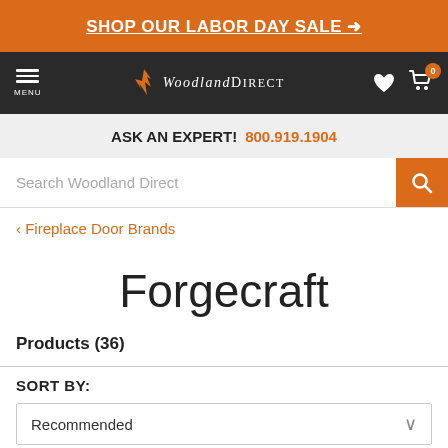SHOP OUR LABOR DAY SALE →
[Figure (logo): WoodlandDirect logo with flame icon on dark navigation bar, with menu, heart, and cart icons]
ASK AN EXPERT! 800.919.1904
Search Woodland Direct
‹ Fireplace Door Brands
Forgecraft
Products (36)
SORT BY:
Recommended